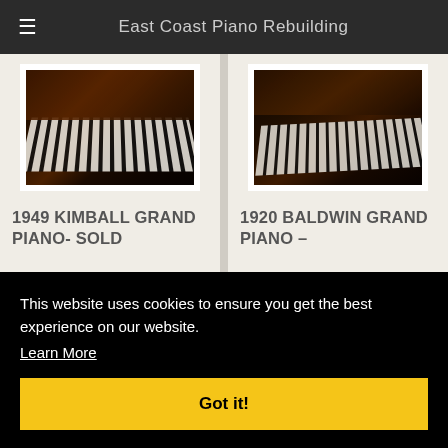East Coast Piano Rebuilding
[Figure (photo): Photo of a 1949 Kimball Grand Piano keyboard/top view, dark wood finish]
1949 KIMBALL GRAND PIANO- SOLD
[Figure (photo): Photo of a 1920 Baldwin Grand Piano keyboard/top view, dark wood finish]
1920 BALDWIN GRAND PIANO –
This website uses cookies to ensure you get the best experience on our website.
Learn More
Got it!
Restored Price: As Is
1920 $